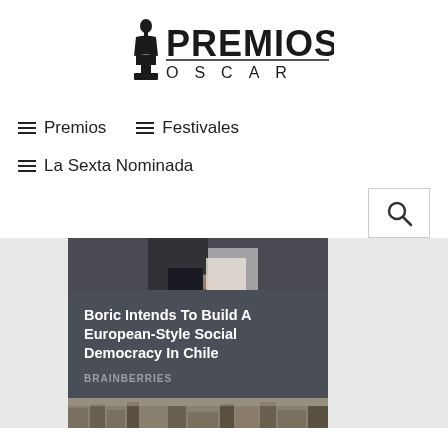[Figure (logo): Premios Oscar logo with Oscar statuette silhouette and text PREMIOS OSCAR]
☰ Premios
☰ Festivales
☰ La Sexta Nominada
[Figure (screenshot): Search button with magnifying glass icon]
[Figure (photo): Photo of a person in dark suit with hands folded]
Boric Intends To Build A European-Style Social Democracy In Chile
BRAINBERRIES
[Figure (photo): Partial image at bottom of page showing a city scene]